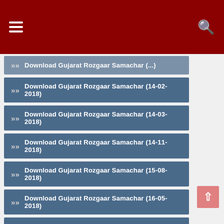Gujarat Rozgaar Samachar Downloads
Download Gujarat Rozgaar Samachar (14-02-2018)
Download Gujarat Rozgaar Samachar (14-03-2018)
Download Gujarat Rozgaar Samachar (14-11-2018)
Download Gujarat Rozgaar Samachar (15-08-2018)
Download Gujarat Rozgaar Samachar (16-05-2018)
Download Gujarat Rozgaar Samachar (17-01-2018)
Download Gujarat Rozgaar Samachar (17-10-2018)
Download Gujarat Rozgaar Samachar (18-04-2018)
Download Gujarat Rozgaar Samachar (18-07-2018)
Download Gujarat Rozgaar Samachar (19-09-2018)
Download Gujarat Rozgaar Samachar (19-12-2018)
Download Gujarat Rozgaar Samachar (20-02-2019)